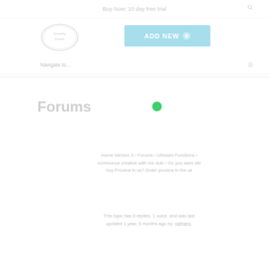Buy Now: 10 day free trial
[Figure (logo): Gravity Fresh logo - circular badge style logo with text]
[Figure (other): ADD NEW button with plus icon, teal/blue background]
Navigate to…
Forums
Home Version 3 › Forums › Ultrasim Functions › communue creative with me dulu › Do you want Me buy Provera in uk? Order provera in the uk
This topic has 0 replies, 1 voice, and was last updated 1 year, 6 months ago by  nathanc.